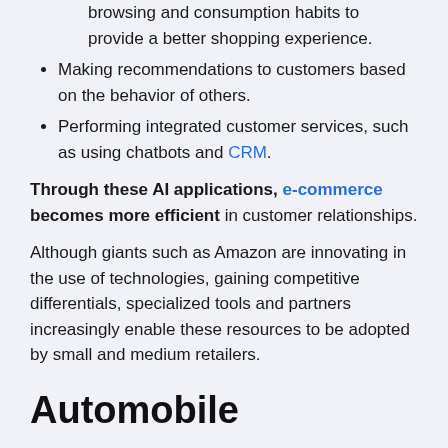browsing and consumption habits to provide a better shopping experience.
Making recommendations to customers based on the behavior of others.
Performing integrated customer services, such as using chatbots and CRM.
Through these AI applications, e-commerce becomes more efficient in customer relationships.
Although giants such as Amazon are innovating in the use of technologies, gaining competitive differentials, specialized tools and partners increasingly enable these resources to be adopted by small and medium retailers.
Automobile
Some applications of AI in automobiles are still in the testing phase, such as Uber's autonomous car.